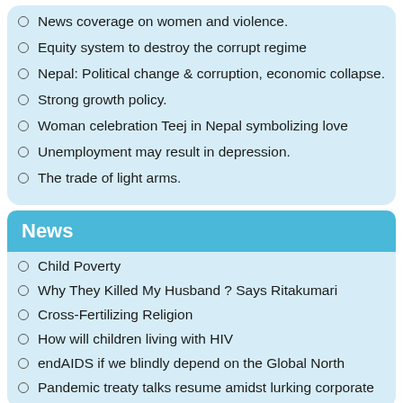News coverage on women and violence.
Equity system to destroy the corrupt regime
Nepal: Political change & corruption, economic collapse.
Strong growth policy.
Woman celebration Teej in Nepal symbolizing love
Unemployment may result in depression.
The trade of light arms.
News
Child Poverty
Why They Killed My Husband ? Says Ritakumari
Cross-Fertilizing Religion
How will children living with HIV
endAIDS if we blindly depend on the Global North
Pandemic treaty talks resume amidst lurking corporate